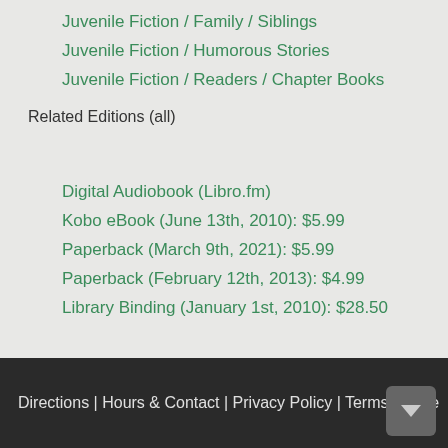Juvenile Fiction / Family / Siblings
Juvenile Fiction / Humorous Stories
Juvenile Fiction / Readers / Chapter Books
Related Editions (all)
Digital Audiobook (Libro.fm)
Kobo eBook (June 13th, 2010): $5.99
Paperback (March 9th, 2021): $5.99
Paperback (February 12th, 2013): $4.99
Library Binding (January 1st, 2010): $28.50
Directions | Hours & Contact | Privacy Policy | Terms of Use